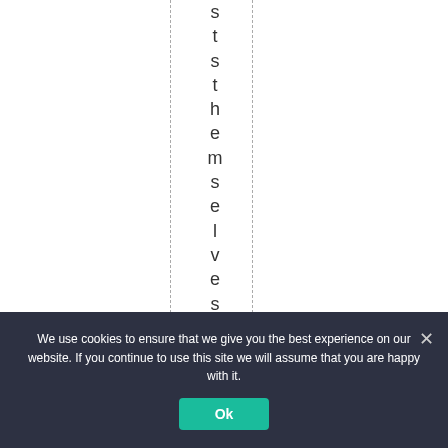s t s t h e m s e l v e s w i l l h
We use cookies to ensure that we give you the best experience on our website. If you continue to use this site we will assume that you are happy with it.